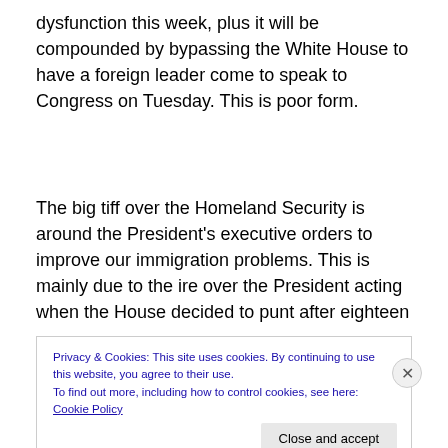dysfunction this week, plus it will be compounded by bypassing the White House to have a foreign leader come to speak to Congress on Tuesday. This is poor form.
The big tiff over the Homeland Security is around the President's executive orders to improve our immigration problems. This is mainly due to the ire over the President acting when the House decided to punt after eighteen
Privacy & Cookies: This site uses cookies. By continuing to use this website, you agree to their use.
To find out more, including how to control cookies, see here: Cookie Policy